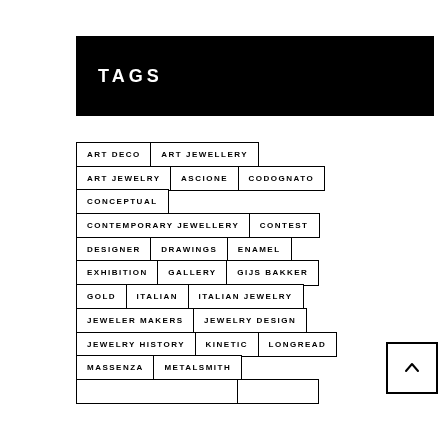TAGS
ART DECO
ART JEWELLERY
ART JEWELRY
ASCIONE
CODOGNATO
CONCEPTUAL
CONTEMPORARY JEWELLERY
CONTEST
DESIGNER
DRAWINGS
ENAMEL
EXHIBITION
GALLERY
GIJS BAKKER
GOLD
ITALIAN
ITALIAN JEWELRY
JEWELER MAKERS
JEWELRY DESIGN
JEWELRY HISTORY
KINETIC
LONGREAD
MASSENZA
METALSMITH